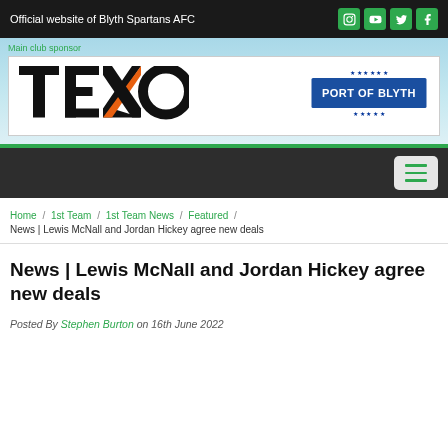Official website of Blyth Spartans AFC
[Figure (logo): TEXO Port of Blyth main club sponsor banner with stadium background illustration]
Main club sponsor
Navigation menu hamburger button
Home / 1st Team / 1st Team News / Featured / News | Lewis McNall and Jordan Hickey agree new deals
News | Lewis McNall and Jordan Hickey agree new deals
Posted By Stephen Burton on 16th June 2022